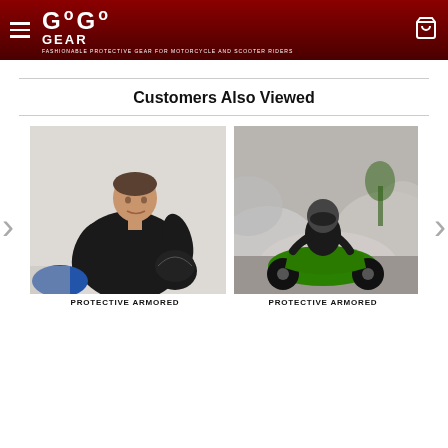[Figure (screenshot): GoGear website header with dark red/maroon background, hamburger menu icon on left, GoGear logo with tagline 'Fashionable Protective Gear for Motorcycle and Scooter Riders', and shopping cart icon on right]
Customers Also Viewed
[Figure (photo): Woman in black hoodie holding a motorcycle helmet, standing next to a blue motorcycle, grey/white background]
[Figure (photo): Motorcyclist on green motorcycle doing a burnout with smoke surrounding them]
PROTECTIVE ARMORED
PROTECTIVE ARMORED